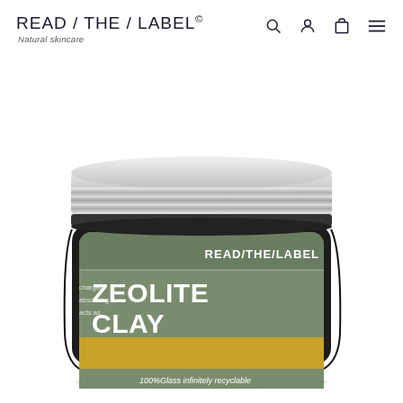READ / THE / LABEL© — Natural skincare
[Figure (photo): A glass jar of Read/The/Label Zeolite Clay skincare product for oily skin. The jar has a silver metallic screw-on lid and a matte sage/olive green label. The label displays 'READ/THE/LABEL' at the top right, 'ZEOLITE CLAY' in large white bold text in the center-left, a yellow-gold band with 'OILY SKIN' in dark text, and '100%Glass infinitely recyclable' at the bottom. There is a green recycling symbol on the right side of the yellow band. Partial text visible on the left side of the label reads 'charged', 'absorbing', 'acts as'.]